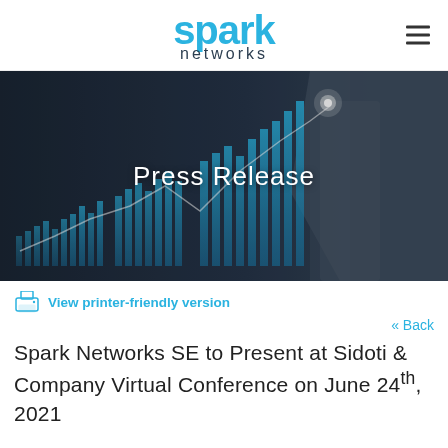spark networks
[Figure (photo): Dark background image showing a businessman pointing at a glowing stock market candlestick chart with upward trend and a line graph overlay. Text overlay reads 'Press Release'.]
View printer-friendly version
« Back
Spark Networks SE to Present at Sidoti & Company Virtual Conference on June 24th, 2021